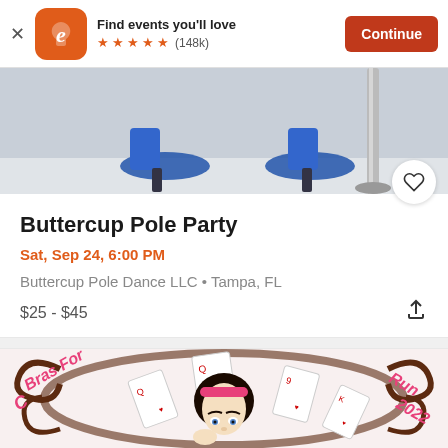Find events you'll love ★★★★★ (148k) Continue
[Figure (photo): Cropped photo showing blue platform high heels and a pole at the bottom, partial view of dance event]
Buttercup Pole Party
Sat, Sep 24, 6:00 PM
Buttercup Pole Dance LLC • Tampa, FL
$25 - $45
[Figure (illustration): Colorful event poster illustration showing a pin-up girl with playing cards in a decorative brown swirling frame. Text reads 'Bras For C' on left and 'Run 2022' on right in pink lettering.]